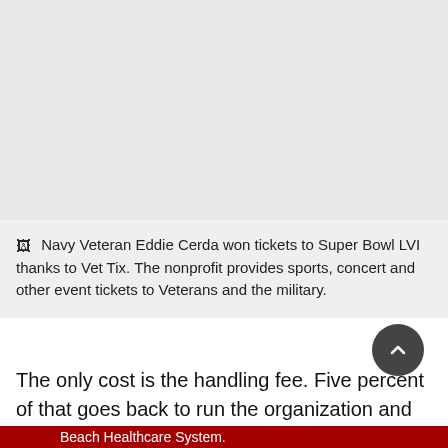[Figure (photo): Gray placeholder image area at top of page]
Navy Veteran Eddie Cerda won tickets to Super Bowl LVI thanks to Vet Tix. The nonprofit provides sports, concert and other event tickets to Veterans and the military.
The only cost is the handling fee. Five percent of that goes back to run the organization and the rest is reinvested to give more tickets away.
“I figured I’d check their web site right after the AFC and NFC championship games,” said Cerda, who lives in Los Angeles and gets care at VA Long Beach Healthcare System.